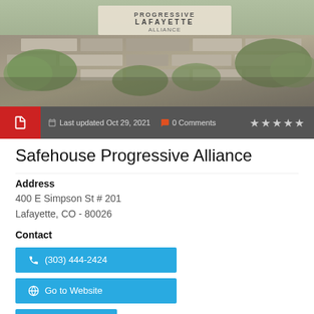[Figure (photo): Outdoor photo of a stone building with 'Lafayette' text visible and landscaping/plants in front]
Last updated Oct 29, 2021  0 Comments  ★★★★★
Safehouse Progressive Alliance
Address
400 E Simpson St # 201
Lafayette, CO - 80026
Contact
(303) 444-2424
Go to Website
Email